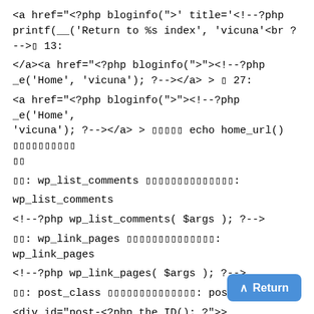<a href="<?php bloginfo('>' title='<!--?php printf(__('Return to %s index', 'vicuna'<br ?-->▯ 13:
</a><a href="<?php bloginfo('>'><！--?php _e('Home', 'vicuna'); ?--></a> > ▯ 27:
<a href="<?php bloginfo('>'><！--?php _e('Home', 'vicuna'); ?--></a> > ▯▯▯▯▯ echo home_url() ▯▯▯▯▯▯▯▯▯▯
▯▯: wp_list_comments ▯▯▯▯▯▯▯▯▯▯▯▯▯▯: wp_list_comments
<!—?php wp_list_comments( $args ); ?-->
▯▯: wp_link_pages ▯▯▯▯▯▯▯▯▯▯▯▯▯▯: wp_link_pages
<!--?php wp_link_pages( $args ); ?-->
▯▯: post_class ▯▯▯▯▯▯▯▯▯▯▯▯▯▯: post_class
<div id="post-<?php the_ID(); ?>">